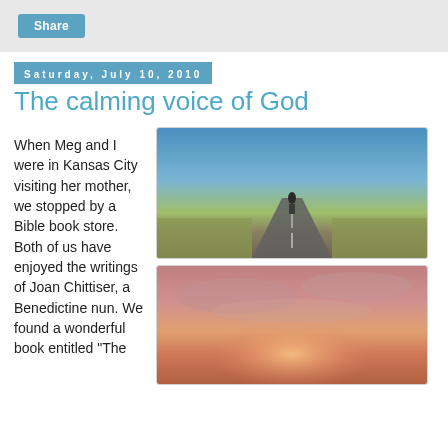Share
Saturday, July 10, 2010
The calming voice of God
When Meg and I were in Kansas City visiting her mother, we stopped by a Bible book store. Both of us have enjoyed the writings of Joan Chittiser, a Benedictine nun. We found a wonderful book entitled "The
[Figure (photo): Person walking alone on a long straight road through flat fields under a blue sky, with an overlaid italic quote: "It is the voice of God within that brings calm and direction. It drains the negative energy out of the present so that we can go on, calmly aware that there is nowhere we are alone." - Joan Chittiser]
[Figure (photo): Sunset/sunrise sky with pink and orange clouds, with an overlaid italic quote: Listen to my voice in the morning, LORD. Each morning I bring my requests to you and wait expectantly. Psalm 5: 3]